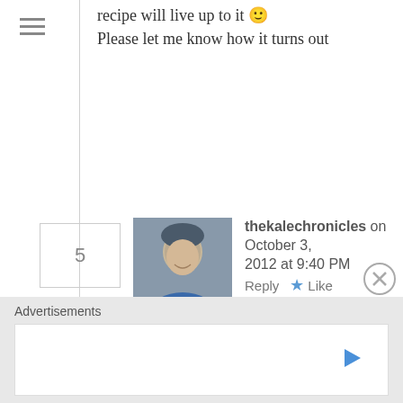recipe will live up to it 🙂 Please let me know how it turns out
5
[Figure (photo): Avatar photo of thekalechronicles commenter]
thekalechronicles on October 3, 2012 at 9:40 PM   Reply  ★ Like
Coincidentally, I just made pita bread today for the first time in a long time, Sawsan. I used my sourdough starter rather than dry yeast. It will have a long slow rise. I did use honey in it and just enough oil to keep it from sticking to the bread bowl, but now milk. Next time I'll try yours.
Advertisements